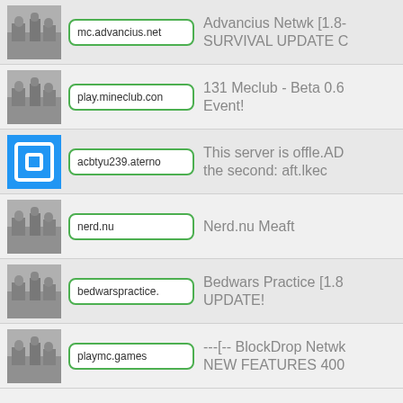mc.advancius.net | Advancius Netwk [1.8- SURVIVAL UPDATE C
play.mineclub.con | 131 Meclub - Beta 0.6 Event!
acbtyu239.aterno | This server is offle.AD the second: aft.lkec
nerd.nu | Nerd.nu Meaft
bedwarspractice. | Bedwars Practice [1.8 UPDATE!
playmc.games | ---[-- BlockDrop Netwk NEW FEATURES 400